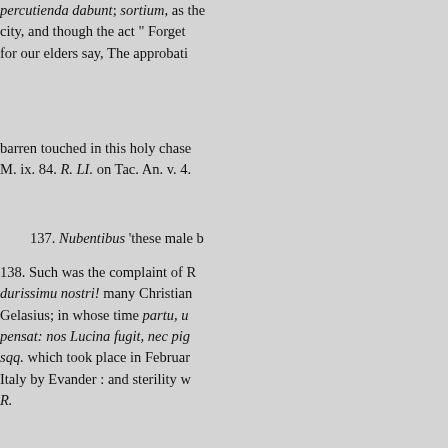percutienda dabunt; sortium, as the city, and though the act " Forget for our elders say, The approbati
barren touched in this holy chase M. ix. 84. R. LI. on Tac. An. v. 4.
137. Nubentibus 'these male b
138. Such was the complaint of R durissimu nostri! many Christian Gelasius; in whose time partu, u pensat: nos Lucina fugit, nec pig sqq. which took place in Februar Italy by Evander : and sterility w R.
there described, which was also t afterprohibits the fulfilment of su
Romans for the site of Pan's te small boxes, (Fužis 143. See the sqq. R. • Outdoes. This may BO. aggravation The epithet may eith being an old woman, BE. Whatev bestows the whole of his fury up of moral ceive, if she carries in h